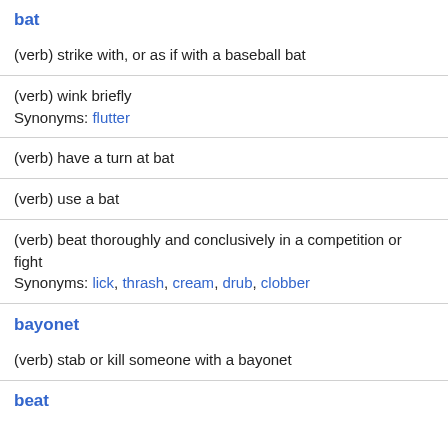bat
(verb) strike with, or as if with a baseball bat
(verb) wink briefly
Synonyms: flutter
(verb) have a turn at bat
(verb) use a bat
(verb) beat thoroughly and conclusively in a competition or fight
Synonyms: lick, thrash, cream, drub, clobber
bayonet
(verb) stab or kill someone with a bayonet
beat